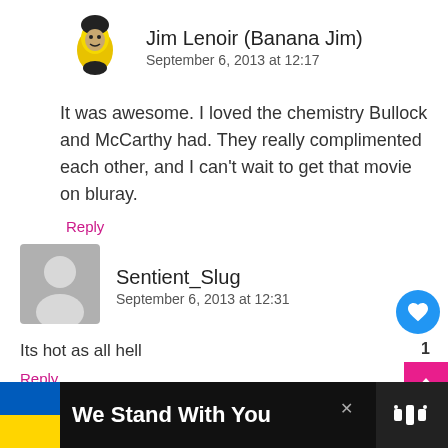[Figure (illustration): Banana Jim avatar - cartoon figure wearing a banana costume with face visible]
Jim Lenoir (Banana Jim)
September 6, 2013 at 12:17
It was awesome. I loved the chemistry Bullock and McCarthy had. They really complimented each other, and I can't wait to get that movie on bluray.
Reply
[Figure (illustration): Generic gray user avatar silhouette]
Sentient_Slug
September 6, 2013 at 12:31
Its hot as all hell
Reply
WHAT'S NEXT → Toughen up your Metal...
We Stand With You